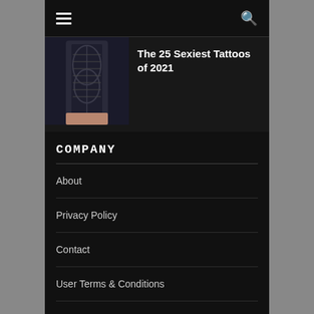≡  🔍
[Figure (photo): Photo of a person's back with an elaborate black tattoo corset design]
The 25 Sexiest Tattoos of 2021
COMPANY
About
Privacy Policy
Contact
User Terms & Conditions
Copyright complaint form